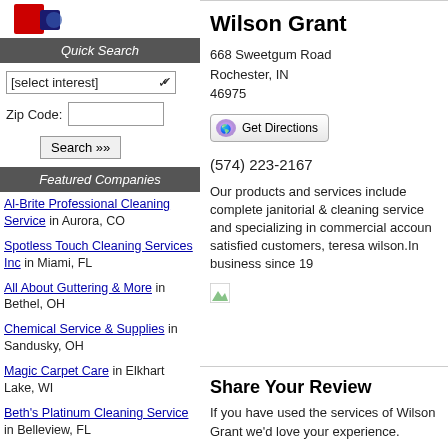[Figure (logo): Company logo with red and blue design, partially visible at top left]
Quick Search
[select interest]
Zip Code:
Search »»
Featured Companies
Al-Brite Professional Cleaning Service in Aurora, CO
Spotless Touch Cleaning Services Inc in Miami, FL
All About Guttering & More in Bethel, OH
Chemical Service & Supplies in Sandusky, OH
Magic Carpet Care in Elkhart Lake, WI
Beth's Platinum Cleaning Service in Belleview, FL
Carpet One & Wallpaper Shop in Spartanburg, SC
Maid To Order in Fort Payne, AL
Accent Carpet Care in North
Wilson Grant
668 Sweetgum Road
Rochester, IN
46975
Get Directions
(574) 223-2167
Our products and services include complete janitorial & cleaning service and specializing in commercial accounts, satisfied customers, teresa wilson.In business since 19
Share Your Review
If you have used the services of Wilson Grant we'd love your experience.
Your Name:
City, State: